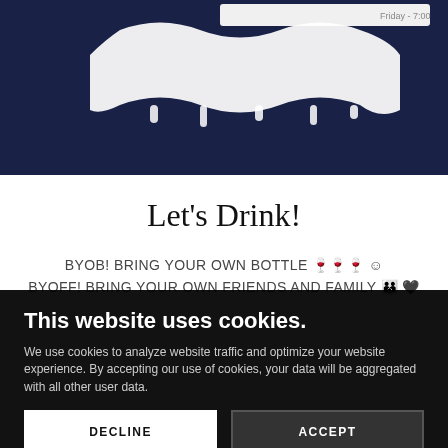[Figure (screenshot): Top portion of a website page with dark navy blue background, showing partial white text/logo at the top]
Let's Drink!
BYOB! BRING YOUR OWN BOTTLE 🍷🍷🍷 😊
BYOFF! BRING YOUR OWN FRIENDS AND FAMILY 👨‍👩‍👧 🖤
This website uses cookies.
We use cookies to analyze website traffic and optimize your website experience. By accepting our use of cookies, your data will be aggregated with all other user data.
DECLINE
ACCEPT